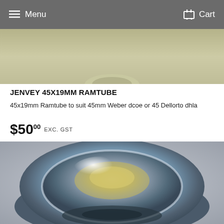Menu   Cart
[Figure (photo): Top portion of a Jenvey 45x19mm Ramtube, metallic, viewed from above, showing a partially visible bump/dome on a matte beige/olive background]
JENVEY 45X19MM RAMTUBE
45x19mm Ramtube to suit 45mm Weber dcoe or 45 Dellorto dhla
$50.00 EXC. GST
[Figure (photo): Close-up photo of a polished stainless steel Jenvey ramtube (bell mouth) viewed from the front/top, showing a round, bowl-like chrome trumpet bell on a light grey/blue background]